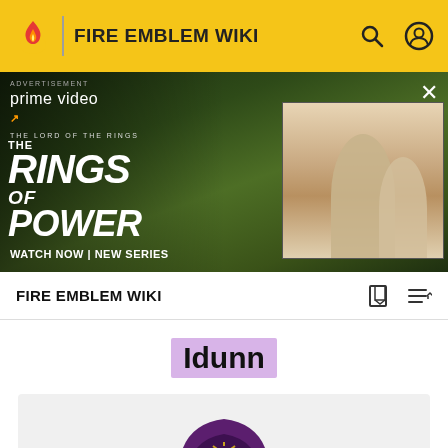FIRE EMBLEM WIKI
[Figure (screenshot): Amazon Prime Video advertisement for The Lord of the Rings: The Rings of Power. Shows two characters from the show on the left and two more on the right. Text reads: prime video, THE LORD OF THE RINGS THE RINGS OF POWER, WATCH NOW | NEW SERIES.]
FIRE EMBLEM WIKI
Idunn
[Figure (illustration): Character illustration of Idunn from Fire Emblem, showing a figure in a dark purple hooded cloak with a golden sun/crown emblem visible under the hood, with white hair and a pale face.]